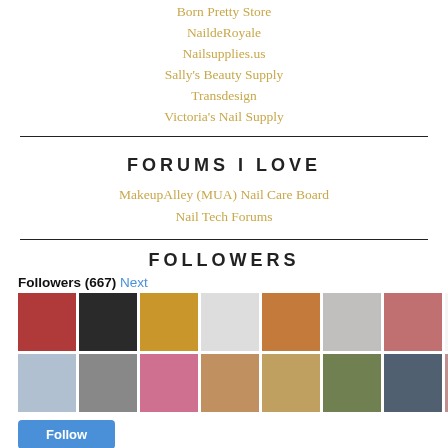Born Pretty Store
NaildeRoyale
Nailsupplies.us
Sally's Beauty Supply
Transdesign
Victoria's Nail Supply
FORUMS I LOVE
MakeupAlley (MUA) Nail Care Board
Nail Tech Forums
FOLLOWERS
Followers (667) Next
[Figure (photo): Grid of follower avatar photos, two rows of small profile pictures]
Follow